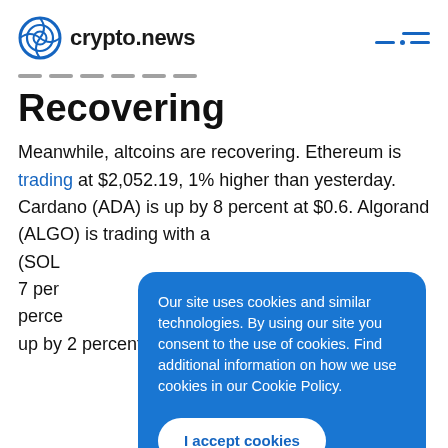crypto.news
Recovering
Meanwhile, altcoins are recovering. Ethereum is trading at $2,052.19, 1% higher than yesterday. Cardano (ADA) is up by 8 percent at $0.6. Algorand (ALGO) is trading with a... (SOL... 7 percent... percent... up by 2 percent at $297.
Our site uses cookies and similar technologies. By using our site you consent to the use of cookies. Find additional information on how we use cookies in our Cookie Policy.